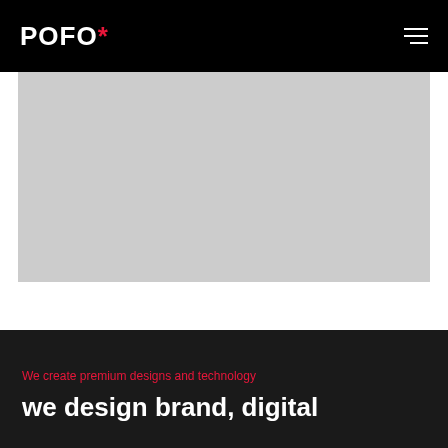POFO*
[Figure (photo): Gray placeholder image area for mobile app screenshot or visual]
Mobile App Development
475+ We created mobile app
We create premium designs and technology
we design brand, digital